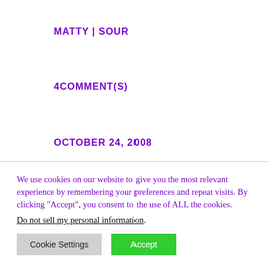MATTY | SOUR
4COMMENT(S)
OCTOBER 24, 2008
We use cookies on our website to give you the most relevant experience by remembering your preferences and repeat visits. By clicking “Accept”, you consent to the use of ALL the cookies. Do not sell my personal information.
Cookie Settings
Accept